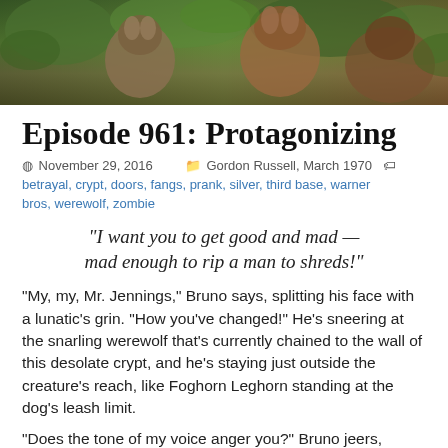[Figure (photo): Photo of creatures or animals (possibly reptilian/fantastical) in a natural setting with green and brown tones.]
Episode 961: Protagonizing
November 29, 2016  Gordon Russell, March 1970
betrayal, crypt, doors, fangs, prank, silver, third base, warner bros, werewolf, zombie
“I want you to get good and mad — mad enough to rip a man to shreds!”
“My, my, Mr. Jennings,” Bruno says, splitting his face with a lunatic’s grin. “How you’ve changed!” He’s sneering at the snarling werewolf that’s currently chained to the wall of this desolate crypt, and he’s staying just outside the creature’s reach, like Foghorn Leghorn standing at the dog’s leash limit.
“Does the tone of my voice anger you?” Bruno jeers,